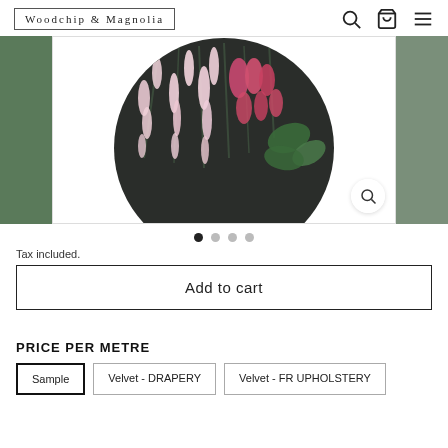Woodchip & Magnolia
[Figure (photo): Product image showing a circular swatch of floral fabric with pink and white wisteria-like flowers on a dark background, displayed in a carousel with green side panels]
Tax included.
Add to cart
PRICE PER METRE
Sample   Velvet - DRAPERY   Velvet - FR UPHOLSTERY